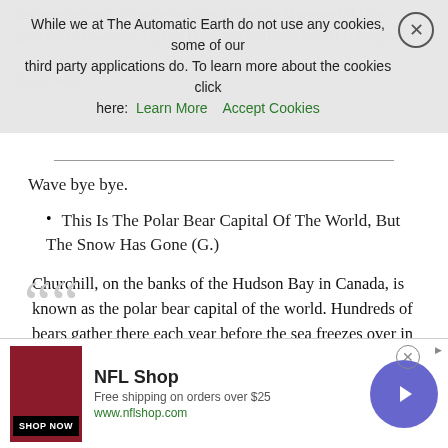decommission it. science minister Hirokazu Matsuno told the governor of western Japan's Fukui prefecture where it is located.
Read more ...
[Figure (other): Cookie consent banner overlay with close button (X), text about cookies for The Automatic Earth, and links 'Learn More' and 'Accept Cookies']
Wave bye bye.
This Is The Polar Bear Capital Of The World, But The Snow Has Gone (G.)
Churchill, on the banks of the Hudson Bay in Canada, is known as the polar bear capital of the world. Hundreds of bears gather there each year before the sea freezes over in October and November so they can hunt seals again from the ice for the first time since the summer. I first went there 12 years ago at this time of year. The place was white, the temperature was -20C, and the bears were out feeding. This year I came back to make a film for Danish TV and set
[Figure (other): NFL Shop advertisement banner at bottom of page with shop now button, free shipping offer, www.nflshop.com, and a circular arrow navigation button]